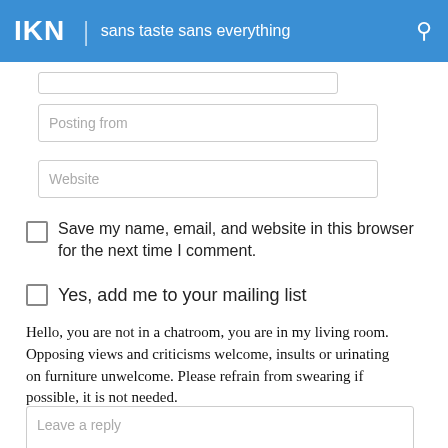IKN | sans taste sans everything
[Figure (screenshot): Partial text input field (top, partially visible)]
Posting from
Website
Save my name, email, and website in this browser for the next time I comment.
Yes, add me to your mailing list
Hello, you are not in a chatroom, you are in my living room. Opposing views and criticisms welcome, insults or urinating on furniture unwelcome. Please refrain from swearing if possible, it is not needed.
Leave a reply
Post Comment